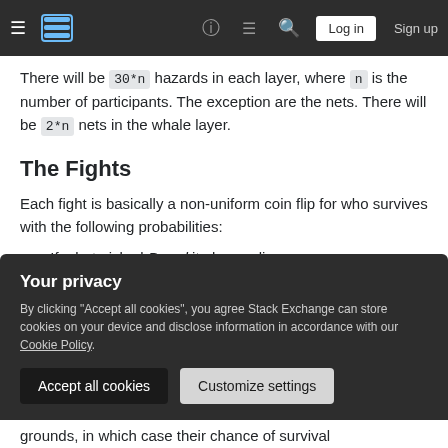Stack Exchange navigation bar with hamburger menu, logo, help, chat, search icons, Log in and Sign up buttons
There will be 30*n hazards in each layer, where n is the number of participants. The exception are the nets. There will be 2*n nets in the whale layer.
The Fights
Each fight is basically a non-uniform coin flip for who survives with the following probabilities:
If a bot picked Breed it always dies.
Nets are indestructible and hence always
Your privacy
By clicking "Accept all cookies", you agree Stack Exchange can store cookies on your device and disclose information in accordance with our Cookie Policy.
grounds, in which case their chance of survival